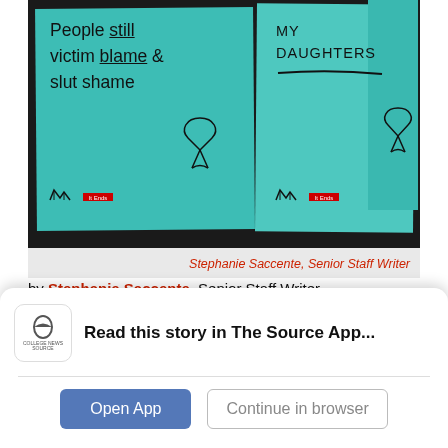[Figure (photo): Two teal sticky note cards. Left card reads 'People still victim blame & slut shame' with awareness ribbon and logos. Right card reads 'MY DAUGHTERS' with underline, awareness ribbon and logos. Dark background.]
Stephanie Saccente, Senior Staff Writer
by Stephanie Saccente, Senior Staff Writer
October 27, 2014
San Diego State faculty, staff and students came
Read this story in The Source App...
Open App
Continue in browser